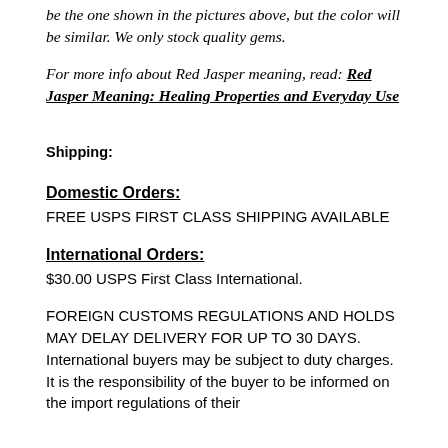be the one shown in the pictures above, but the color will be similar. We only stock quality gems.
For more info about Red Jasper meaning, read: Red Jasper Meaning: Healing Properties and Everyday Use
Shipping:
Domestic Orders:
FREE USPS FIRST CLASS SHIPPING AVAILABLE
International Orders:
$30.00 USPS First Class International.
FOREIGN CUSTOMS REGULATIONS AND HOLDS MAY DELAY DELIVERY FOR UP TO 30 DAYS. International buyers may be subject to duty charges. It is the responsibility of the buyer to be informed on the import regulations of their